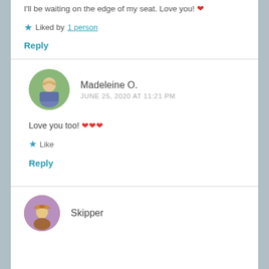I'll be waiting on the edge of my seat. Love you! ❤
Liked by 1 person
Reply
[Figure (photo): Circular avatar of Madeleine O., woman with blonde hair in outdoor setting]
Madeleine O.
JUNE 25, 2020 AT 11:21 PM
Love you too! ❤❤❤
Like
Reply
[Figure (photo): Circular avatar of Skipper, partially visible at bottom of page]
Skipper